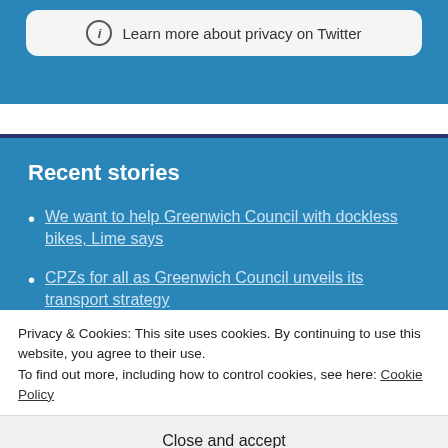Learn more about privacy on Twitter
Recent stories
We want to help Greenwich Council with dockless bikes, Lime says
CPZs for all as Greenwich Council unveils its transport strategy
Privacy & Cookies: This site uses cookies. By continuing to use this website, you agree to their use. To find out more, including how to control cookies, see here: Cookie Policy
Close and accept